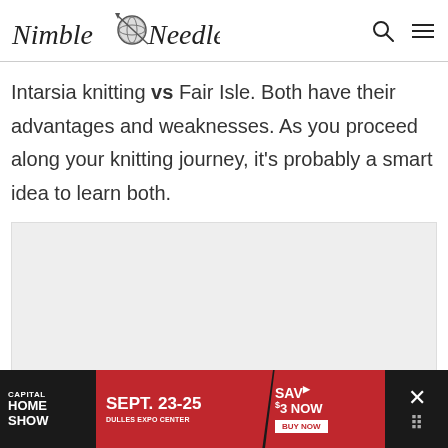Nimble Needles
Intarsia knitting vs Fair Isle. Both have their advantages and weaknesses. As you proceed along your knitting journey, it's probably a smart idea to learn both.
[Figure (other): Gray advertisement placeholder area]
[Figure (other): Capital Home Show advertisement banner - SEPT. 23-25, DULLES EXPO CENTER, SAV $3 NOW BUY NOW]